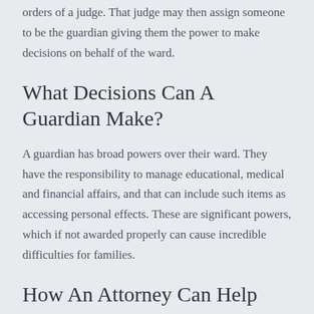orders of a judge. That judge may then assign someone to be the guardian giving them the power to make decisions on behalf of the ward.
What Decisions Can A Guardian Make?
A guardian has broad powers over their ward. They have the responsibility to manage educational, medical and financial affairs, and that can include such items as accessing personal effects. These are significant powers, which if not awarded properly can cause incredible difficulties for families.
How An Attorney Can Help
Our attorneys will educate you on what you need to do to obtain guardianship over a loved one, or we can